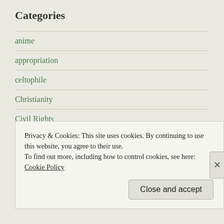Categories
anime
appropriation
celtophile
Christianity
Civil Rights
Conservative
culture
Debate
Diversity
Privacy & Cookies: This site uses cookies. By continuing to use this website, you agree to their use.
To find out more, including how to control cookies, see here: Cookie Policy
Close and accept